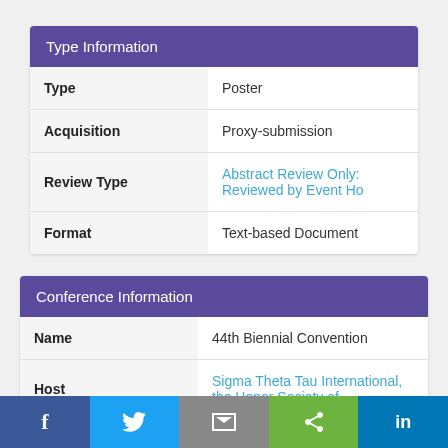|  |  |
| --- | --- |
| Type | Poster |
| Acquisition | Proxy-submission |
| Review Type | Abstract Review Only: Reviewed by Event Ho… |
| Format | Text-based Document |
|  |  |
| --- | --- |
| Name | 44th Biennial Convention |
| Host | Sigma Theta Tau International, the Honor Society of… |
| Location | Indianapolis, Indiana, USA |
| Date | 2017… |